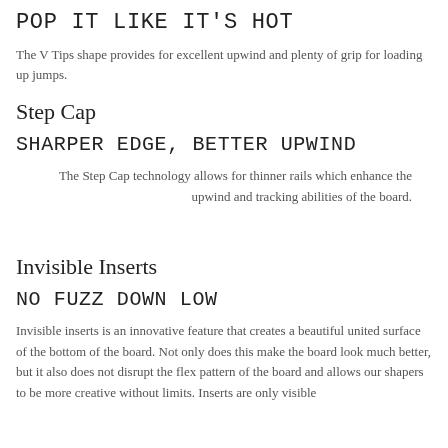POP IT LIKE IT'S HOT
The V Tips shape provides for excellent upwind and plenty of grip for loading up jumps.
Step Cap
SHARPER EDGE, BETTER UPWIND
The Step Cap technology allows for thinner rails which enhance the upwind and tracking abilities of the board.
Invisible Inserts
NO FUZZ DOWN LOW
Invisible inserts is an innovative feature that creates a beautiful united surface of the bottom of the board. Not only does this make the board look much better, but it also does not disrupt the flex pattern of the board and allows our shapers to be more creative without limits. Inserts are only visible